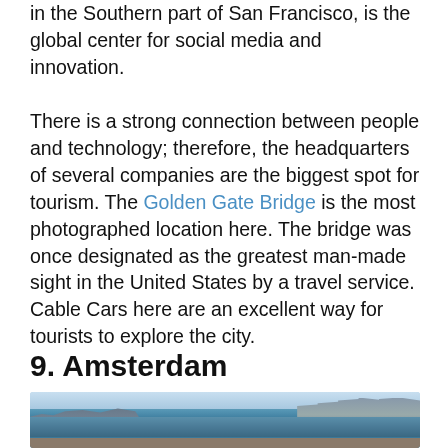in the Southern part of San Francisco, is the global center for social media and innovation.
There is a strong connection between people and technology; therefore, the headquarters of several companies are the biggest spot for tourism. The Golden Gate Bridge is the most photographed location here. The bridge was once designated as the greatest man-made sight in the United States by a travel service. Cable Cars here are an excellent way for tourists to explore the city.
9. Amsterdam
[Figure (photo): Aerial/elevated view of Amsterdam cityscape showing a waterway/harbor with buildings, including a tall modern building on the right, colorful rooftops on the left, and blue sky in the background.]